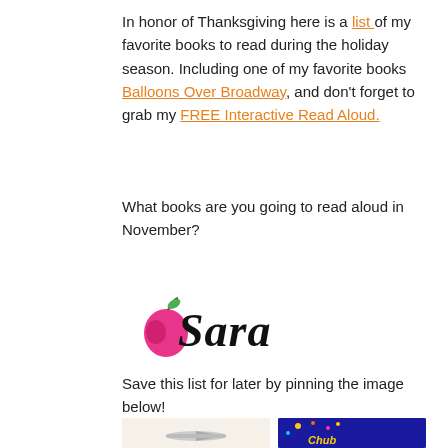In honor of Thanksgiving here is a list of my favorite books to read during the holiday season. Including one of my favorite books Balloons Over Broadway, and don't forget to grab my FREE Interactive Read Aloud.
What books are you going to read aloud in November?
[Figure (illustration): Cursive script signature reading 'Sara' with a pink apple icon to the left of the S]
Save this list for later by pinning the image below!
[Figure (photo): Two partially visible book cover images side by side at the bottom of the page]